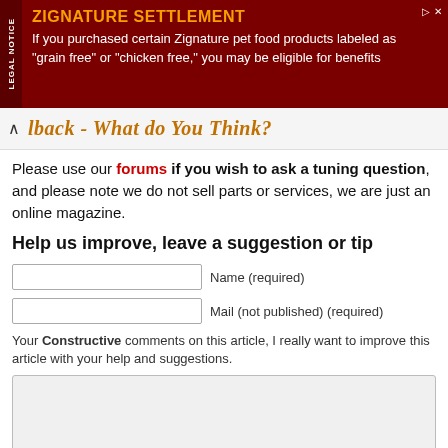[Figure (infographic): Advertisement banner for Zignature Settlement in dark red. Left side has vertical 'LEGAL NOTICE' text. Main text: 'ZIGNATURE SETTLEMENT' in gold bold, then white body text: 'If you purchased certain Zignature pet food products labeled as "grain free" or "chicken free," you may be eligible for benefits']
lback - What do You Think?
Please use our forums if you wish to ask a tuning question, and please note we do not sell parts or services, we are just an online magazine.
Help us improve, leave a suggestion or tip
Name (required)
Mail (not published) (required)
Your Constructive comments on this article, I really want to improve this article with your help and suggestions.
Submit Comment
Please watch this video and subscribe to my